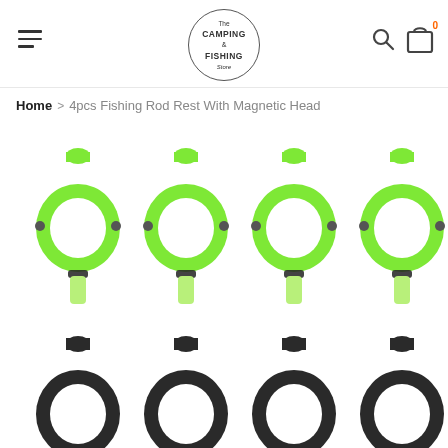The Camping & Fishing Store — navigation header with hamburger menu, logo, search icon, and cart icon (badge: 0)
Home > 4pcs Fishing Rod Rest With Magnetic Head
[Figure (photo): Four green fishing rod rests with magnetic heads lined up in a row (top row), and four black fishing rod rests partially visible at the bottom of the image.]